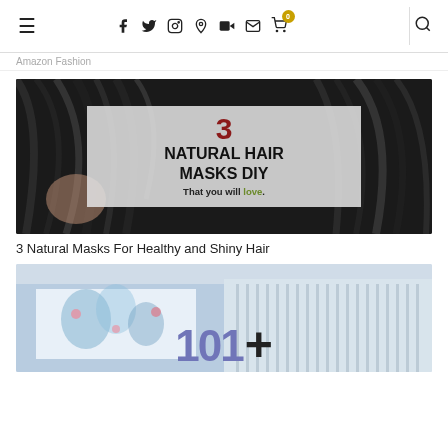Navigation bar with hamburger menu, social icons (facebook, twitter, instagram, pinterest, youtube, email, cart with badge 0), and search icon
Amazon Fashion
[Figure (photo): Article thumbnail showing dark hair background with a semi-transparent grey overlay box containing '3 NATURAL HAIR MASKS DIY That you will love.']
3 Natural Masks For Healthy and Shiny Hair
[Figure (photo): Article thumbnail showing two people in tropical/stripe shirts with a large '101+' text overlay]